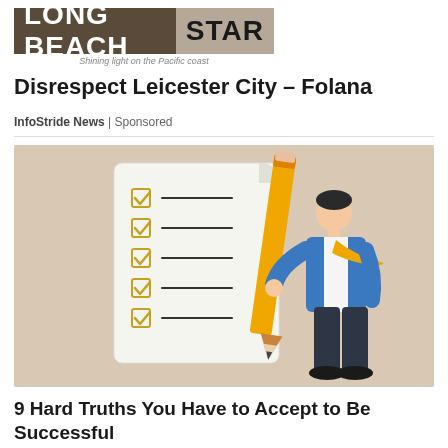LONG BEACH STAR — Shining light on the Pacific coast
Disrespect Leicester City – Folana
InfoStride News | Sponsored
[Figure (illustration): Illustration of a man in blue jacket holding a large pencil next to a checklist paper with five checked checkboxes]
9 Hard Truths You Have to Accept to Be Successful